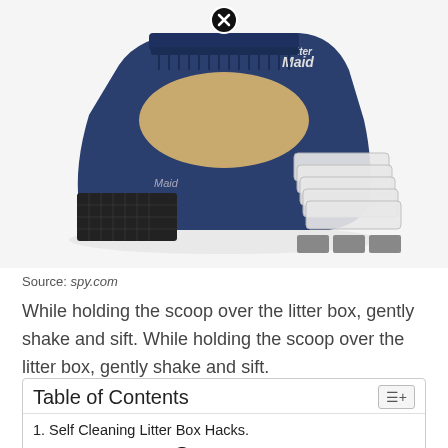[Figure (photo): LitterMaid self-cleaning litter box product photo showing the blue navy automatic litter box unit with a black mesh entry mat, brown litter tray inside, and five clear disposable waste receptacles with carbon filter packets alongside. A close/exit button (circle with X) appears at the top center.]
Source: spy.com
While holding the scoop over the litter box, gently shake and sift. While holding the scoop over the litter box, gently shake and sift.
| Table of Contents |
| --- |
| 1. Self Cleaning Litter Box Hacks. |
| 2. He Is A Cat Dad With 8 Cats. |